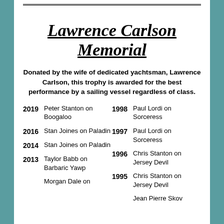Lawrence Carlson Memorial
Donated by the wife of dedicated yachtsman, Lawrence Carlson, this trophy is awarded for the best performance by a sailing vessel regardless of class.
2019 Peter Stanton on Boogaloo
2016 Stan Joines on Paladin
2014 Stan Joines on Paladin
2013 Taylor Babb on Barbaric Yawp
Morgan Dale on
1998 Paul Lordi on Sorceress
1997 Paul Lordi on Sorceress
1996 Chris Stanton on Jersey Devil
1995 Chris Stanton on Jersey Devil
Jean Pierre Skov